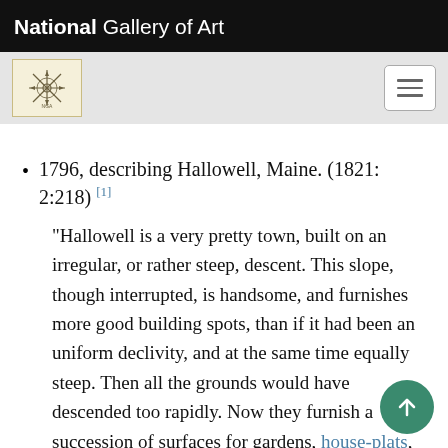National Gallery of Art
1796, describing Hallowell, Maine. (1821: 2:218) [1]
"Hallowell is a very pretty town, built on an irregular, or rather steep, descent. This slope, though interrupted, is handsome, and furnishes more good building spots, than if it had been an uniform declivity, and at the same time equally steep. Then all the grounds would have descended too rapidly. Now they furnish a succession of surfaces for gardens, house-plats, and court y and are thus very convenient, as well as sometimes